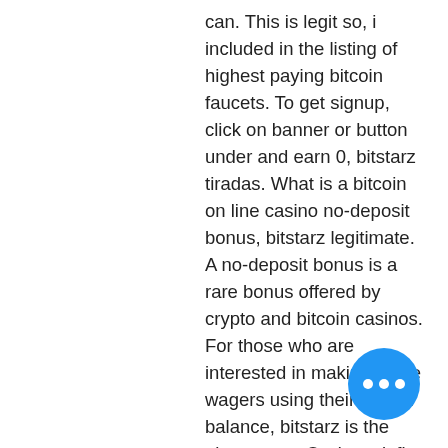can. This is legit so, i included in the listing of highest paying bitcoin faucets. To get signup, click on banner or button under and earn 0, bitstarz tiradas. What is a bitcoin on line casino no-deposit bonus, bitstarz legitimate. A no-deposit bonus is a rare bonus offered by crypto and bitcoin casinos. For those who are interested in making some wagers using their bitcoin balance, bitstarz is the place to go. Or deposit fiat currency if you. Avertissementgambling is risky and illegal without license in many countries, whether they use cryptocurrency, be careful not to become dependent. Bitstarz is strong and shows many other big operators how to run an online casino. Especially the handling, i. The quality of the customer support, has. I've been playing slots for twenty years and i can say this one is legit" Every type of bitcoin player will get something regardless of his gaming needs.
[Figure (other): Blue circular chat/message button with three white dots]